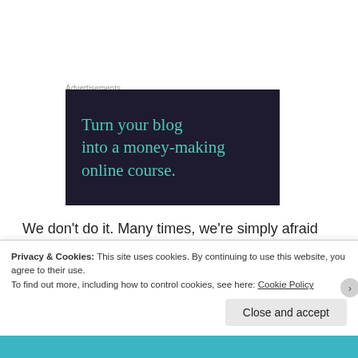Advertisements
[Figure (illustration): Dark navy banner ad with teal serif text reading 'Turn your blog into a money-making online course.']
We don't do it. Many times, we're simply afraid that we can't. Frozen. But God knows we can because it's what He created us for!
Privacy & Cookies: This site uses cookies. By continuing to use this website, you agree to their use. To find out more, including how to control cookies, see here: Cookie Policy
Close and accept